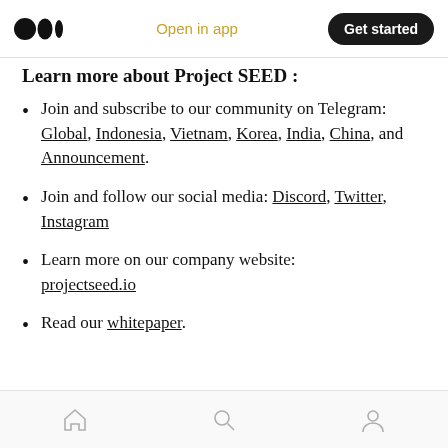Open in app | Get started
Learn more about Project SEED :
Join and subscribe to our community on Telegram: Global, Indonesia, Vietnam, Korea, India, China, and Announcement.
Join and follow our social media: Discord, Twitter, Instagram
Learn more on our company website: projectseed.io
Read our whitepaper.
Home | Search | Profile